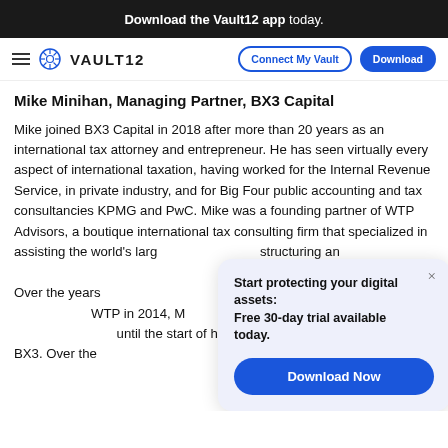Download the Vault12 app today.
VAULT12 — Connect My Vault — Download
Mike Minihan, Managing Partner, BX3 Capital
Mike joined BX3 Capital in 2018 after more than 20 years as an international tax attorney and entrepreneur. He has seen virtually every aspect of international taxation, having worked for the Internal Revenue Service, in private industry, and for Big Four public accounting and tax consultancies KPMG and PwC. Mike was a founding partner of WTP Advisors, a boutique international tax consulting firm that specialized in assisting the world's larg… structuring an…
Over the years… other tax focus… WTP in 2014, M… of Ryan, LLC, a .… until the start of his second consultancy career at BX3. Over the
Start protecting your digital assets: Free 30-day trial available today. Download Now